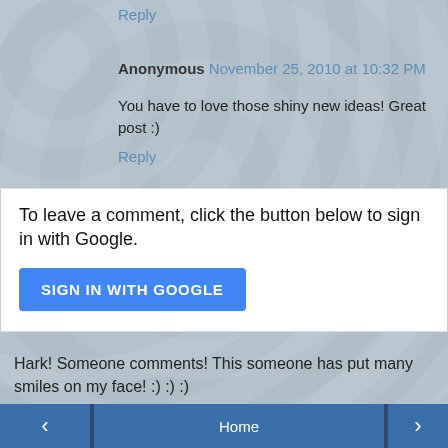Reply
Anonymous  November 25, 2010 at 10:32 PM
You have to love those shiny new ideas! Great post :)
Reply
To leave a comment, click the button below to sign in with Google.
SIGN IN WITH GOOGLE
Hark! Someone comments! This someone has put many smiles on my face! :) :) :)
Hark! Someone hast no email address attached to their Blogger profile. Alas, I canst not respond to your lovely, smile-making comments. :(
‹   Home   ›